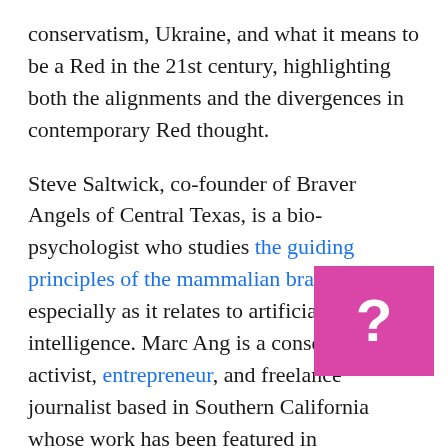conservatism, Ukraine, and what it means to be a Red in the 21st century, highlighting both the alignments and the divergences in contemporary Red thought.
Steve Saltwick, co-founder of Braver Angels of Central Texas, is a bio-psychologist who studies the guiding principles of the mammalian brain especially as it relates to artificial intelligence. Marc Ang is a conservative activist, entrepreneur, and freelance journalist based in Southern California whose work has been featured in Newsweek, The Washington Examiner, Redstate, and more. Finally, Paul N., a founding leader of Braver Angels' Red Caucus, [obscured] in technology prior to enjoying a post-retirement career as a psychotherapist in California.
[Figure (other): Pink/magenta overlay box with a white question mark, partially obscuring text in the bottom-right area of the page.]